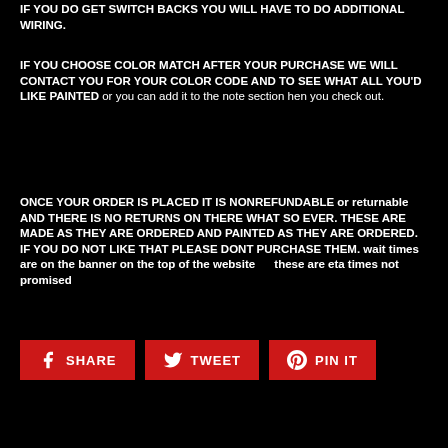IF YOU DO GET SWITCH BACKS YOU WILL HAVE TO DO ADDITIONAL WIRING.
IF YOU CHOOSE COLOR MATCH AFTER YOUR PURCHASE WE WILL CONTACT YOU FOR YOUR COLOR CODE AND TO SEE WHAT ALL YOU'D LIKE PAINTED  or you can add it to the note section hen you check out.
ONCE YOUR ORDER IS PLACED IT IS NONREFUNDABLE or returnable  AND THERE IS NO RETURNS ON THERE WHAT SO EVER. THESE ARE MADE AS THEY ARE ORDERED AND PAINTED AS THEY ARE ORDERED. IF YOU DO  NOT LIKE THAT PLEASE DONT PURCHASE THEM.   wait times are on the banner on the top of the website       these are eta times not promised
[Figure (other): Social share buttons: SHARE (Facebook), TWEET (Twitter), PIN IT (Pinterest)]